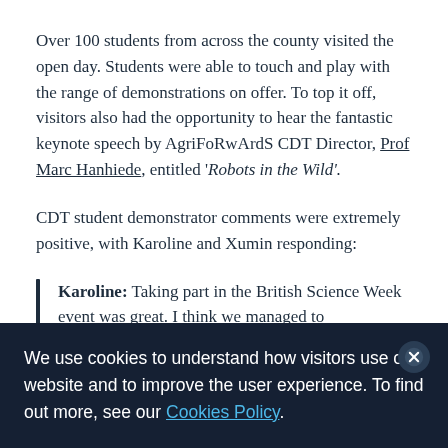Over 100 students from across the county visited the open day. Students were able to touch and play with the range of demonstrations on offer. To top it off, visitors also had the opportunity to hear the fantastic keynote speech by AgriFoRwArdS CDT Director, Prof Marc Hanhiede, entitled 'Robots in the Wild'.
CDT student demonstrator comments were extremely positive, with Karoline and Xumin responding:
Karoline: Taking part in the British Science Week event was great. I think we managed to
We use cookies to understand how visitors use our website and to improve the user experience. To find out more, see our Cookies Policy.